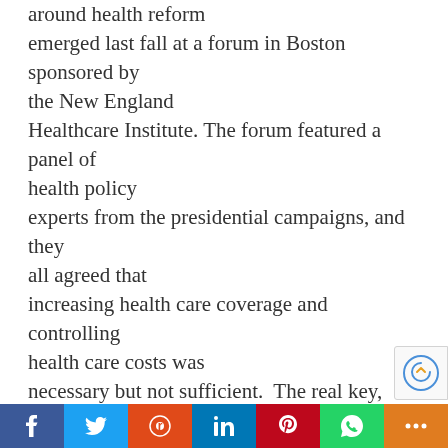around health reform emerged last fall at a forum in Boston sponsored by the New England Healthcare Institute. The forum featured a panel of health policy experts from the presidential campaigns, and they all agreed that increasing health care coverage and controlling health care costs was necessary but not sufficient.  The real key, they agreed, was to constrain costs by tackling the chronic disease epidemic with prevention and management programs.

As Christopher Jennings, a top health care advisor to Senator Hillary